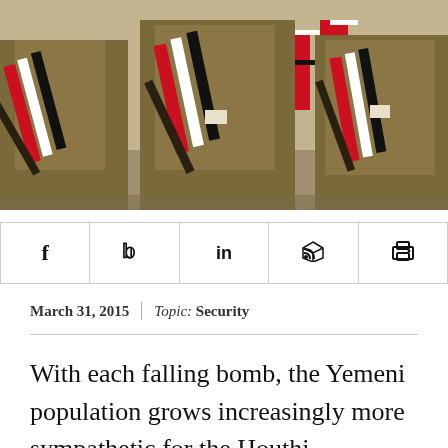[Figure (photo): Photograph of Yemeni soldiers in olive/khaki military uniforms wearing red-white-black diagonal sashes, carrying rifles, marching in a parade. Yemen flags visible in the background.]
[Figure (infographic): Social media sharing bar with icons for Facebook (f), Twitter (bird), LinkedIn (in), RSS feed, and Print (printer icon)]
March 31, 2015  |  Topic: Security
With each falling bomb, the Yemeni population grows increasingly more sympathetic for the Houthi movement.